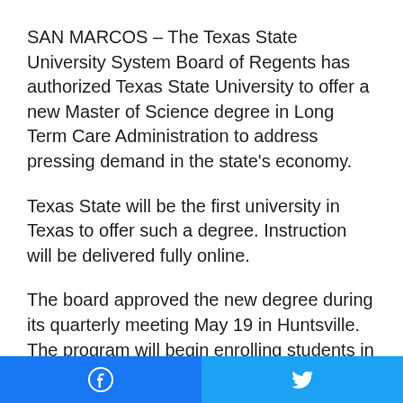SAN MARCOS – The Texas State University System Board of Regents has authorized Texas State University to offer a new Master of Science degree in Long Term Care Administration to address pressing demand in the state's economy.
Texas State will be the first university in Texas to offer such a degree. Instruction will be delivered fully online.
The board approved the new degree during its quarterly meeting May 19 in Huntsville. The program will begin enrolling students in the fall of 2022, pending final approval by the Texas Higher Education Coordinating Board.
Facebook | Twitter social share buttons